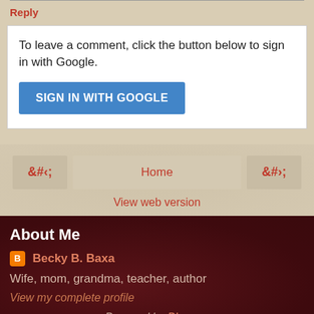Reply
To leave a comment, click the button below to sign in with Google.
SIGN IN WITH GOOGLE
Home
View web version
About Me
Becky B. Baxa
Wife, mom, grandma, teacher, author
View my complete profile
Powered by Blogger.